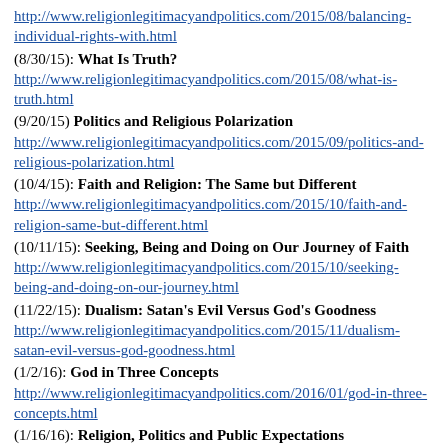http://www.religionlegitimacyandpolitics.com/2015/08/balancing-individual-rights-with.html
(8/30/15): What Is Truth? http://www.religionlegitimacyandpolitics.com/2015/08/what-is-truth.html
(9/20/15) Politics and Religious Polarization http://www.religionlegitimacyandpolitics.com/2015/09/politics-and-religious-polarization.html
(10/4/15): Faith and Religion: The Same but Different http://www.religionlegitimacyandpolitics.com/2015/10/faith-and-religion-same-but-different.html
(10/11/15): Seeking, Being and Doing on Our Journey of Faith http://www.religionlegitimacyandpolitics.com/2015/10/seeking-being-and-doing-on-our-journey.html
(11/22/15): Dualism: Satan's Evil Versus God's Goodness http://www.religionlegitimacyandpolitics.com/2015/11/dualism-satan-evil-versus-god-goodness.html
(1/2/16): God in Three Concepts http://www.religionlegitimacyandpolitics.com/2016/01/god-in-three-concepts.html
(1/16/16): Religion, Politics and Public Expectations http://www.religionlegitimacyandpolitics.com/2016/01/religion-politics-and-public.html
(1/23/16): Who Is My Neighbor?